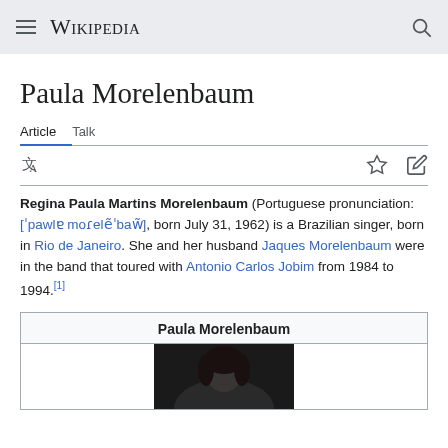Wikipedia
Paula Morelenbaum
Article  Talk
Regina Paula Martins Morelenbaum (Portuguese pronunciation: [ˈpawlе moɻelẽˈbaw̃], born July 31, 1962) is a Brazilian singer, born in Rio de Janeiro. She and her husband Jaques Morelenbaum were in the band that toured with Antonio Carlos Jobim from 1984 to 1994.[1]
[Figure (infographic): Infobox for Paula Morelenbaum with title and photo at bottom]